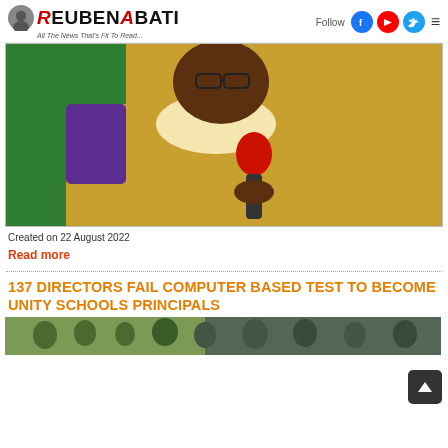REUBENABATI – All The News That's Fit To Read...
[Figure (photo): Photo of a man in traditional African attire (gold/yellow) holding a red microphone, with a green flag in the background]
Created on 22 August 2022
Read more
137 DIRECTORS FAIL COMPUTER BASED TEST TO BECOME UNITY SCHOOLS PRINCIPALS
[Figure (photo): Partial image of a crowd or group at the bottom of the page]